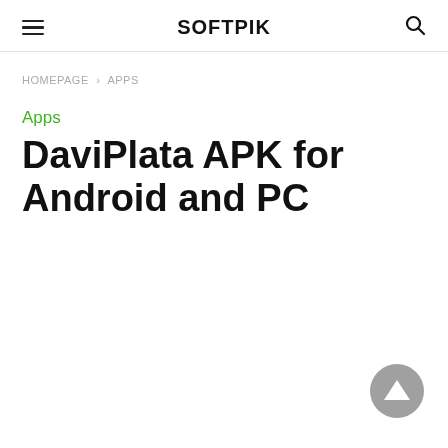SOFTPIK
HOMEPAGE > APPS
Apps
DaviPlata APK for Android and PC